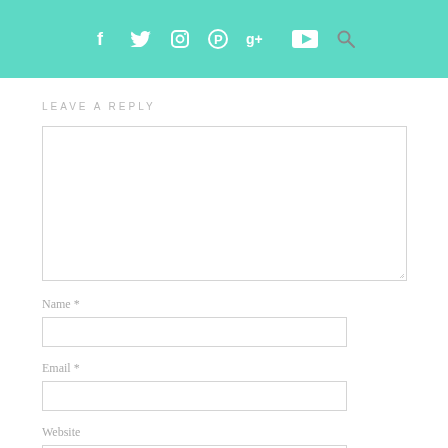f  ᵴ  ☖  ℗  g+  ▶  🔍
LEAVE A REPLY
[Figure (screenshot): Large comment text area input box, empty]
Name *
[Figure (screenshot): Name input field, empty]
Email *
[Figure (screenshot): Email input field, empty]
Website
[Figure (screenshot): Website input field, empty]